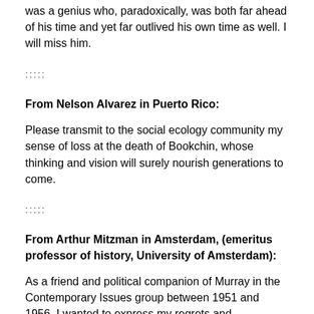was a genius who, paradoxically, was both far ahead of his time and yet far outlived his own time as well. I will miss him.
:::::
From Nelson Alvarez in Puerto Rico:
Please transmit to the social ecology community my sense of loss at the death of Bookchin, whose thinking and vision will surely nourish generations to come.
:::::
From Arthur Mitzman in Amsterdam, (emeritus professor of history, University of Amsterdam):
As a friend and political companion of Murray in the Contemporary Issues group between 1951 and 1956, I wanted to express my regrets and condolence to his family and friends in Vermont. Murray's subsequent importance in defining social ecology for two generations of concerned citizens of the world cannot be overestimated, but his articulate, reasoned passion was essential to my own political education a half century ago